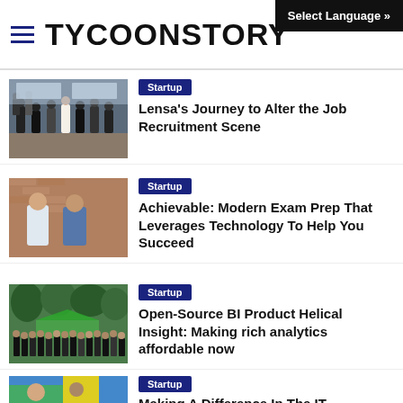TYCOONSTORY
Select Language »
[Figure (photo): Group photo of Lensa team in an office setting]
Startup
Lensa's Journey to Alter the Job Recruitment Scene
[Figure (photo): Two men standing in front of a brick wall — Achievable founders]
Startup
Achievable: Modern Exam Prep That Leverages Technology To Help You Succeed
[Figure (photo): Large group of people standing outdoors under trees — Helical Insight team]
Startup
Open-Source BI Product Helical Insight: Making rich analytics affordable now
[Figure (photo): Partial photo visible at bottom — person with colorful background]
Startup
Making A Difference In The IT